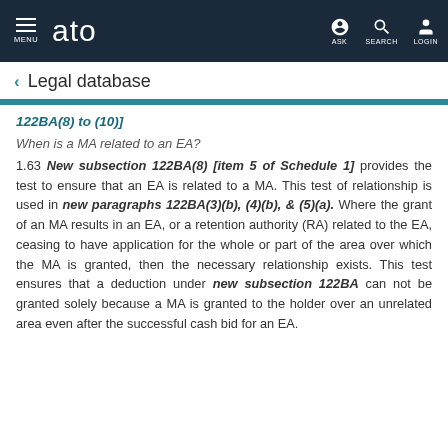MENU  ato  ASK  SEARCH  LOGIN
Legal database
122BA(8) to (10)]
When is a MA related to an EA?
1.63 New subsection 122BA(8) [item 5 of Schedule 1] provides the test to ensure that an EA is related to a MA. This test of relationship is used in new paragraphs 122BA(3)(b), (4)(b), & (5)(a). Where the grant of an MA results in an EA, or a retention authority (RA) related to the EA, ceasing to have application for the whole or part of the area over which the MA is granted, then the necessary relationship exists. This test ensures that a deduction under new subsection 122BA can not be granted solely because a MA is granted to the holder over an unrelated area even after the successful cash bid for an EA.